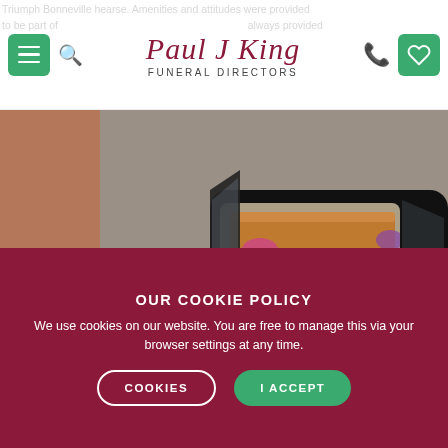Paul J King Funeral Directors
[Figure (photo): Black Triumph Bonneville motorcycle with a hearse sidecar containing a wooden coffin, photographed outdoors on a street. The sidecar has large glass windows showing the casket with flowers.]
OUR COOKIE POLICY
We use cookies on our website. You are free to manage this via your browser settings at any time.
COOKIES    I ACCEPT